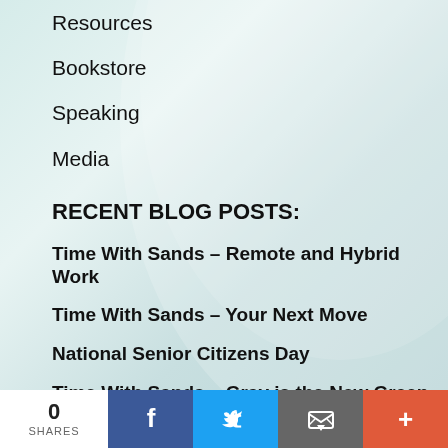Resources
Bookstore
Speaking
Media
RECENT BLOG POSTS:
Time With Sands – Remote and Hybrid Work
Time With Sands – Your Next Move
National Senior Citizens Day
Time With Sands – Gray is the New Green
Embrace Your Inner Crone
0 SHARES | Facebook | Twitter | Email | More